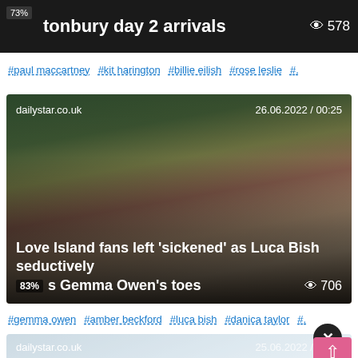[Figure (screenshot): Dark banner with headline 'Glastonbury day 2 arrivals' and view count 578]
#paul maccartney #kit harington #billie eilish #rose leslie #.
[Figure (screenshot): Article card from dailystar.co.uk dated 26.06.2022 / 00:25 showing a couple, headline: Love Island fans left 'sickened' as Luca Bish seductively sucks Gemma Owen's toes, view count 706]
#gemma owen #amber beckford #luca bish #danica taylor #.
[Figure (screenshot): Partially visible article card from dailystar.co.uk dated 25.06.2022 / 22:31 with a smiling woman, overlaid with close button and scroll-to-top button]